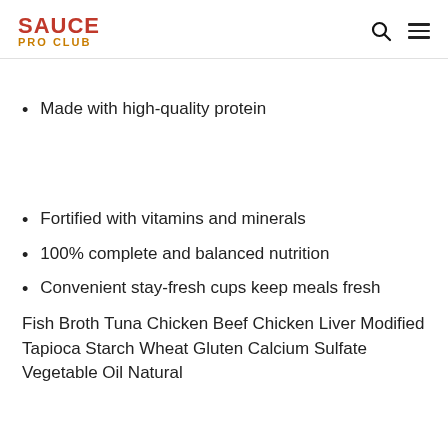SAUCE PRO CLUB
Made with high-quality protein
Fortified with vitamins and minerals
100% complete and balanced nutrition
Convenient stay-fresh cups keep meals fresh
Fish Broth Tuna Chicken Beef Chicken Liver Modified Tapioca Starch Wheat Gluten Calcium Sulfate Vegetable Oil Natural